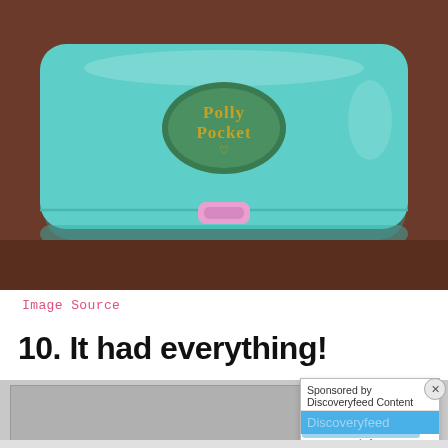[Figure (photo): A teal/turquoise Polly Pocket compact toy case with a pink latch in the center, sitting on a dark wooden surface. The case has an oval logo reading 'Polly Pocket' with a small heart/flower emblem.]
Image Source
10. It had everything!
[Figure (screenshot): A sponsored advertisement overlay showing 'Sponsored by Discoveryfeed Content' with a blue highlighted 'Discoveryfeed' label and 'Content Made for You - Discover' subtext, with an X close button.]